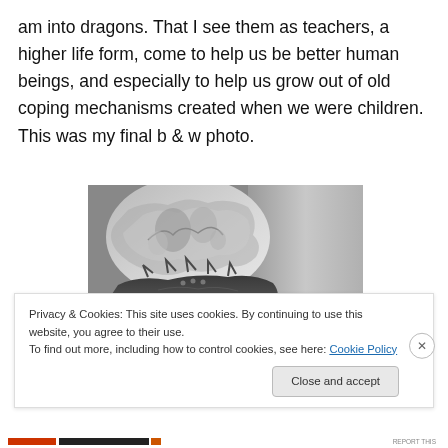am into dragons. That I see them as teachers, a higher life form, come to help us be better human beings, and especially to help us grow out of old coping mechanisms created when we were children. This was my final b & w photo.
[Figure (photo): Black and white photograph of a dragon figurine in front of a decorative plate with baroque-style imagery]
Privacy & Cookies: This site uses cookies. By continuing to use this website, you agree to their use.
To find out more, including how to control cookies, see here: Cookie Policy
Close and accept